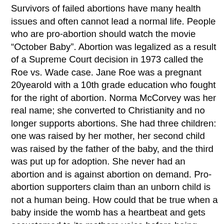Survivors of failed abortions have many health issues and often cannot lead a normal life. People who are pro-abortion should watch the movie “October Baby”. Abortion was legalized as a result of a Supreme Court decision in 1973 called the Roe vs. Wade case. Jane Roe was a pregnant 20yearold with a 10th grade education who fought for the right of abortion. Norma McCorvey was her real name; she converted to Christianity and no longer supports abortions. She had three children: one was raised by her mother, her second child was raised by the father of the baby, and the third was put up for adoption. She never had an abortion and is against abortion on demand. Pro-abortion supporters claim than an unborn child is not a human being. How could that be true when a baby inside the womb has a heartbeat and gets accustomed to its mothers voice before being born? The law defines that the mother has the right...